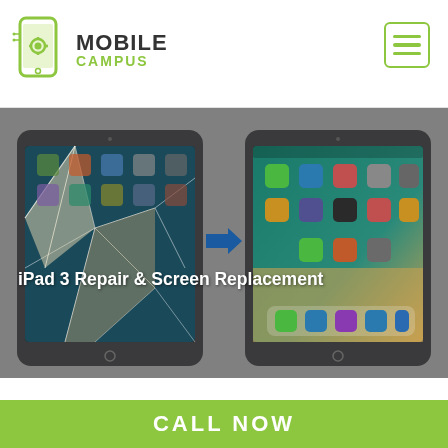[Figure (logo): Mobile Campus logo with smartphone graphic and green/dark text]
[Figure (illustration): Before and after comparison of iPad 3 with cracked screen on left and repaired screen on right, with blue arrow in between, overlaid with text 'iPad 3 Repair & Screen Replacement']
iPad 3 Repair & Screen Replacement
CALL NOW